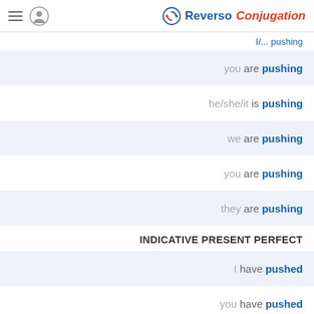Reverso Conjugation
I/... pushing
you are pushing
he/she/it is pushing
we are pushing
you are pushing
they are pushing
INDICATIVE PRESENT PERFECT
I have pushed
you have pushed
he/she/it has pushed